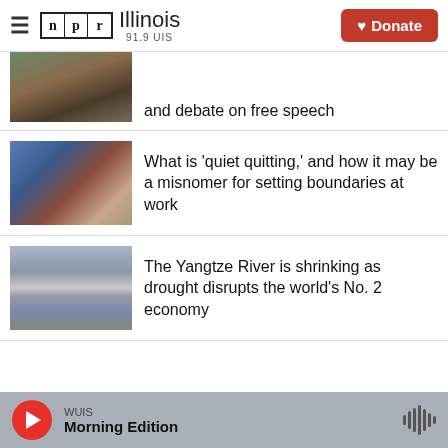NPR Illinois 91.9 UIS — Donate
and debate on free speech
What is 'quiet quitting,' and how it may be a misnomer for setting boundaries at work
The Yangtze River is shrinking as drought disrupts the world's No. 2 economy
WUIS Morning Edition